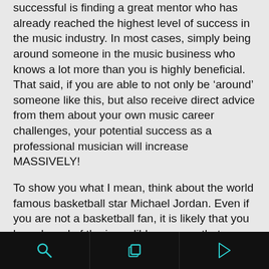successful is finding a great mentor who has already reached the highest level of success in the music industry. In most cases, simply being around someone in the music business who knows a lot more than you is highly beneficial. That said, if you are able to not only be ‘around’ someone like this, but also receive direct advice from them about your own music career challenges, your potential success as a professional musician will increase MASSIVELY!
To show you what I mean, think about the world famous basketball star Michael Jordan. Even if you are not a basketball fan, it is likely that you have heard of the incredible success that Jordan achieved throughout his career. Over the span of about two decades, Jordan became known as one of the best athletes ever (in any sport) as he broke countless
[Figure (other): Mobile app toolbar with black background containing three icons: search (magnifying glass), copy/duplicate (overlapping squares), and play (triangle/arrow) icons in teal/cyan color]